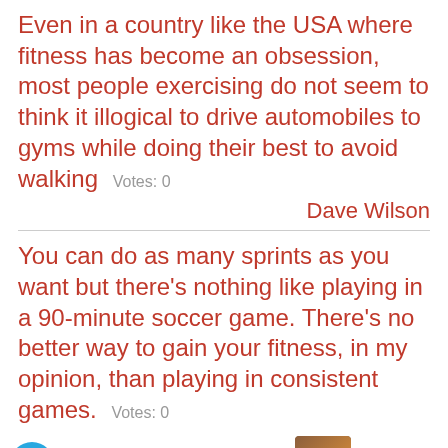Even in a country like the USA where fitness has become an obsession, most people exercising do not seem to think it illogical to drive automobiles to gyms while doing their best to avoid walking   Votes: 0
Dave Wilson
You can do as many sprints as you want but there's nothing like playing in a 90-minute soccer game. There's no better way to gain your fitness, in my opinion, than playing in consistent games.   Votes: 0
[Figure (screenshot): Advertisement banner: 22 Words - 37 Genius Amazon Products That Can Be Used By Anyone, with product image and CLOSE button]
nbach
Fast bowling is not an easy job. Especially if you are also a batsman as well as being a fast